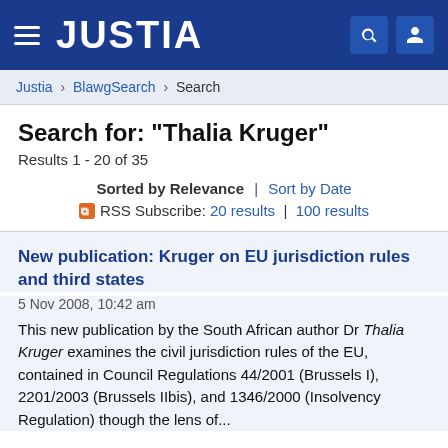JUSTIA
Justia > BlawgSearch > Search
Search for: "Thalia Kruger"
Results 1 - 20 of 35
Sorted by Relevance | Sort by Date
RSS Subscribe: 20 results | 100 results
New publication: Kruger on EU jurisdiction rules and third states
5 Nov 2008, 10:42 am
This new publication by the South African author Dr Thalia Kruger examines the civil jurisdiction rules of the EU, contained in Council Regulations 44/2001 (Brussels I), 2201/2003 (Brussels IIbis), and 1346/2000 (Insolvency Regulation) though the lens of ...